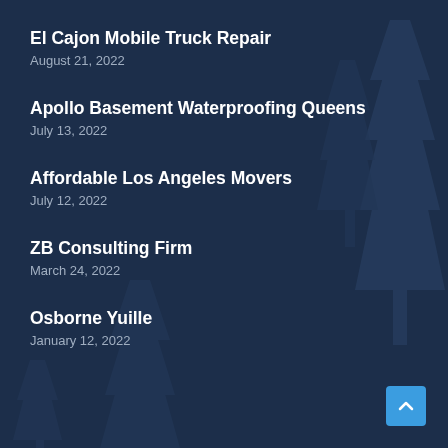El Cajon Mobile Truck Repair
August 21, 2022
Apollo Basement Waterproofing Queens
July 13, 2022
Affordable Los Angeles Movers
July 12, 2022
ZB Consulting Firm
March 24, 2022
Osborne Yuille
January 12, 2022